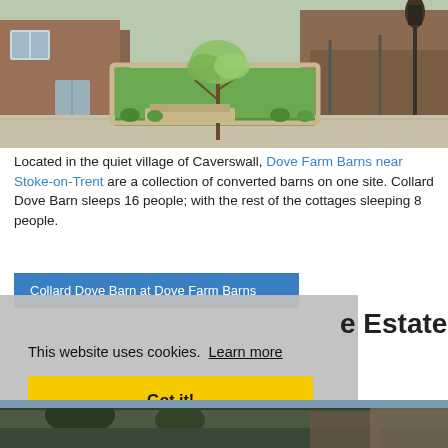[Figure (photo): Photograph of Dove Farm Barns showing converted brick barn buildings with a courtyard garden, green lawn, young trees, and stone pathway. A decorative street lamp is visible on the right side.]
Located in the quiet village of Caverswall, Dove Farm Barns near Stoke-on-Trent are a collection of converted barns on one site. Collard Dove Barn sleeps 16 people; with the rest of the cottages sleeping 8 people.
Collard Dove Barn at Dove Farm Barns
This website uses cookies. Learn more
Got it!
e Estate
[Figure (photo): Partial photograph of another barn or estate building with trees visible.]